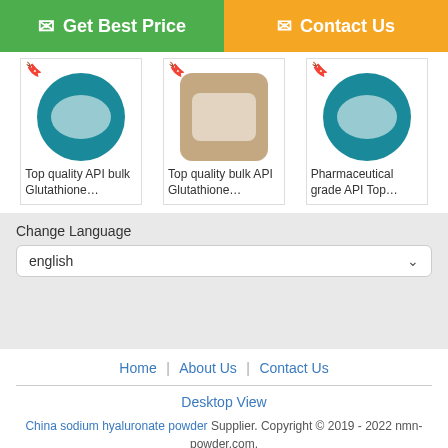[Figure (screenshot): Green 'Get Best Price' button with chat icon on left half of top bar]
[Figure (screenshot): Orange 'Contact Us' button with mail icon on right half of top bar]
[Figure (photo): Product thumbnail: white powder in teal circle, badge icon. Caption: Top quality API bulk Glutathione...]
[Figure (photo): Product thumbnail: white powder in rounded square brown background. Caption: Top quality bulk API Glutathione...]
[Figure (photo): Product thumbnail: white powder in teal circle. Caption: Pharmaceutical grade API Top...]
Change Language
english
Home | About Us | Contact Us
Desktop View
China sodium hyaluronate powder Supplier. Copyright © 2019 - 2022 nmn-powder.com. All rights reserved. Developed by ECER
[Figure (screenshot): Chat Now button with orange circle chat icon]
[Figure (screenshot): Request A Quote button in orange with mail icon]